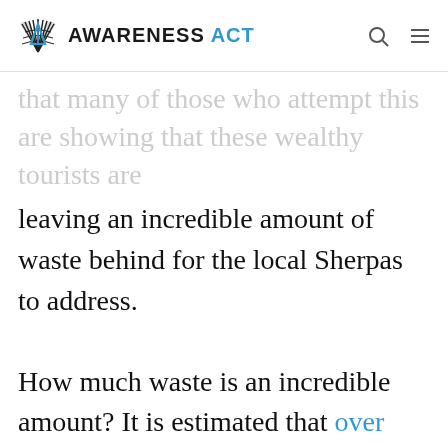AWARENESS ACT
that many of those who attempt the are showing that these wealthy tourists are leaving an incredible amount of waste behind for the local Sherpas to address.
How much waste is an incredible amount? It is estimated that over 26,000 pounds of human excrement are removed from the mountain every season. In addition to the disgusting amount of human waste, climbers abandon tents, broken climbing equipment, empty gas canister and other